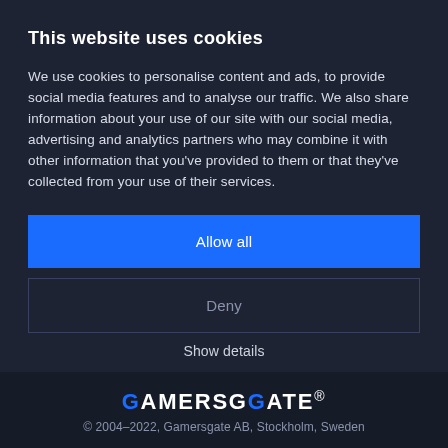This website uses cookies
We use cookies to personalise content and ads, to provide social media features and to analyse our traffic. We also share information about your use of our site with our social media, advertising and analytics partners who may combine it with other information that you've provided to them or that they've collected from your use of their services.
Allow all
Deny
Show details
[Figure (logo): GAMERSGATE logo in white and blue uppercase text]
© 2004–2022, Gamersgate AB, Stockholm, Sweden